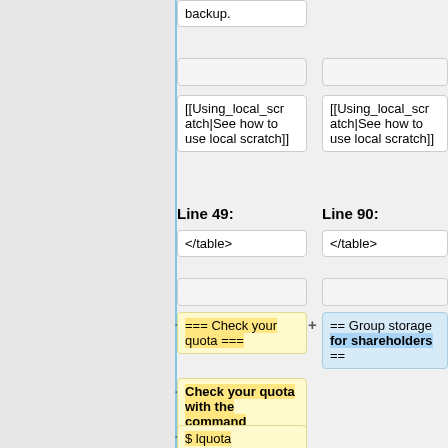backup.
[[Using_local_scratch|See how to use local scratch]]
[[Using_local_scratch|See how to use local scratch]]
Line 49:
Line 90:
</table>
</table>
=== Check your quota ===
== Group storage for shareholders ==
Check your quota with the command
$ lquota